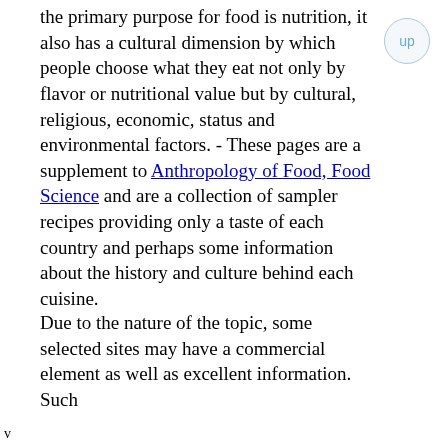the primary purpose for food is nutrition, it also has a cultural dimension by which people choose what they eat not only by flavor or nutritional value but by cultural, religious, economic, status and environmental factors.  - These pages are a supplement to Anthropology of Food, Food Science and are a collection of sampler recipes providing only a taste of each country and perhaps some information about the history and culture behind each cuisine.
Due to the nature of the topic, some selected sites may have a commercial element as well as excellent information.  Such
v